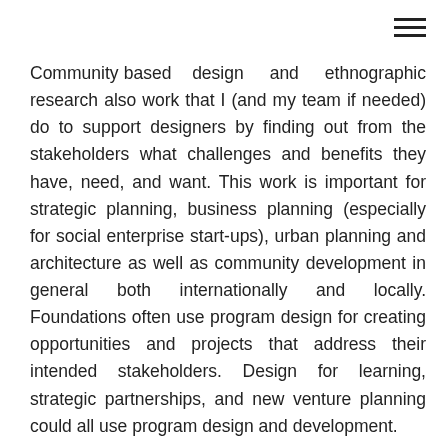Community based design and ethnographic research also work that I (and my team if needed) do to support designers by finding out from the stakeholders what challenges and benefits they have, need, and want. This work is important for strategic planning, business planning (especially for social enterprise start-ups), urban planning and architecture as well as community development in general both internationally and locally. Foundations often use program design for creating opportunities and projects that address their intended stakeholders. Design for learning, strategic partnerships, and new venture planning could all use program design and development.